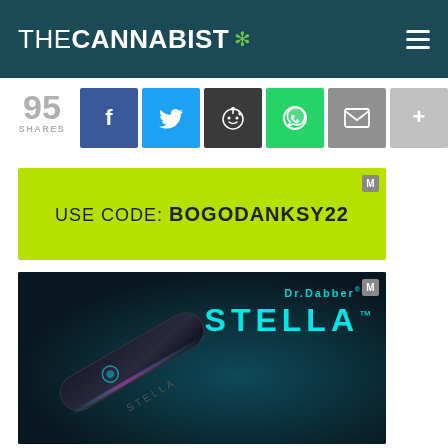THECANNABIST
95 SHARES
[Figure (infographic): Social share buttons: Facebook (blue), Twitter (light blue), Reddit (dark), WhatsApp (green), Email (gray), More (gray)]
[Figure (infographic): Green advertisement banner with text: USE CODE: BOGODANKSY22 with M badge]
[Figure (photo): Dr.Dabber STELLA vaporizer pen advertisement on dark teal background]